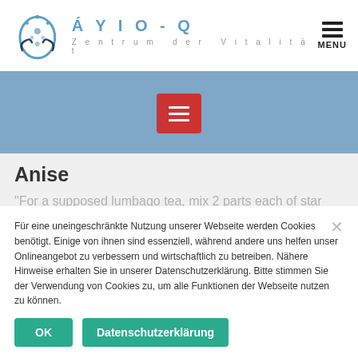ÁYIO-Q Zentrum der Vitalität
[Figure (logo): ÁYIO-Q logo with blue droplet and hands icon, brand name and tagline Zentrum der Vitalität]
[Figure (infographic): Red menu button with three white horizontal lines on a steel blue background banner]
Anise
"For a supposed lumbago tea, mix 2 parts each of star anise and willow bark, one and a half parts of mullein flowers and devil's claw, and one part each of lavender ... need one tablespoon of the mixture per cup ... steep for ten minutes at twice a day relieve malaise and severe stress
Für eine uneingeschränkte Nutzung unserer Webseite werden Cookies benötigt. Einige von ihnen sind essenziell, während andere uns helfen unser Onlineangebot zu verbessern und wirtschaftlich zu betreiben. Nähere Hinweise erhalten Sie in unserer Datenschutzerklärung. Bitte stimmen Sie der Verwendung von Cookies zu, um alle Funktionen der Webseite nutzen zu können.